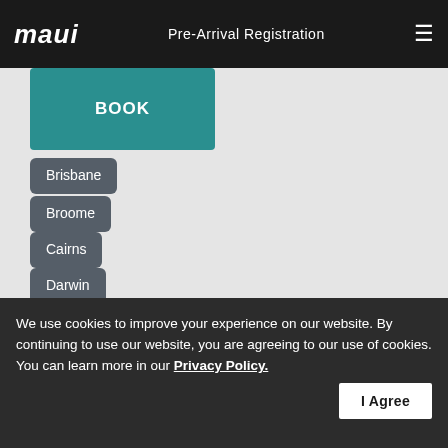maui   Pre-Arrival Registration
BOOK
Brisbane
Broome
Cairns
Darwin
Hobart
Melbourne
Perth
Sydney
Follow us
We use cookies to improve your experience on our website. By continuing to use our website, you are agreeing to our use of cookies. You can learn more in our Privacy Policy.   I Agree